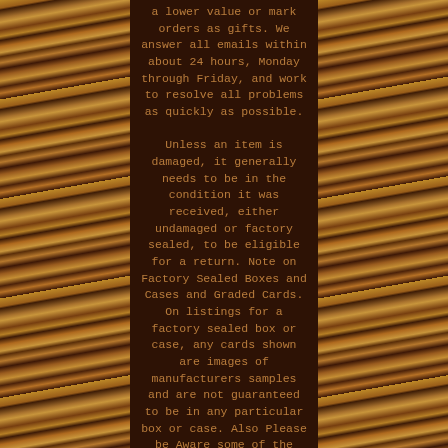a lower value or mark orders as gifts. We answer all emails within about 24 hours, Monday through Friday, and work to resolve all problems as quickly as possible.

Unless an item is damaged, it generally needs to be in the condition it was received, either undamaged or factory sealed, to be eligible for a return. Note on Factory Sealed Boxes and Cases and Graded Cards. On listings for a factory sealed box or case, any cards shown are images of manufacturers samples and are not guaranteed to be in any particular box or case. Also Please be Aware some of the Older Products we sell